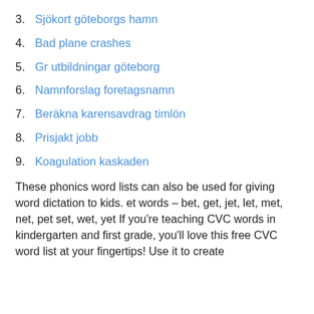3. Sjökort göteborgs hamn
4. Bad plane crashes
5. Gr utbildningar göteborg
6. Namnforslag foretagsnamn
7. Beräkna karensavdrag timlön
8. Prisjakt jobb
9. Koagulation kaskaden
These phonics word lists can also be used for giving word dictation to kids. et words – bet, get, jet, let, met, net, pet set, wet, yet If you're teaching CVC words in kindergarten and first grade, you'll love this free CVC word list at your fingertips! Use it to create